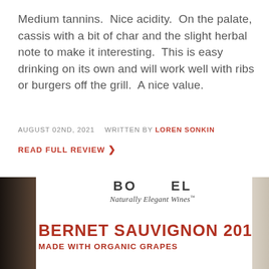Medium tannins.  Nice acidity.  On the palate, cassis with a bit of char and the slight herbal note to make it interesting.  This is easy drinking on its own and will work well with ribs or burgers off the grill.  A nice value.
AUGUST 02ND, 2021   WRITTEN BY LOREN SONKIN
READ FULL REVIEW ❯
[Figure (photo): Close-up photo of a wine bottle label showing 'Naturally Elegant Wines' in script, 'BERNET SAUVIGNON 2019' in large red text, and 'MADE WITH ORGANIC GRAPES' below it. The left side of the image shows the dark bottle.]